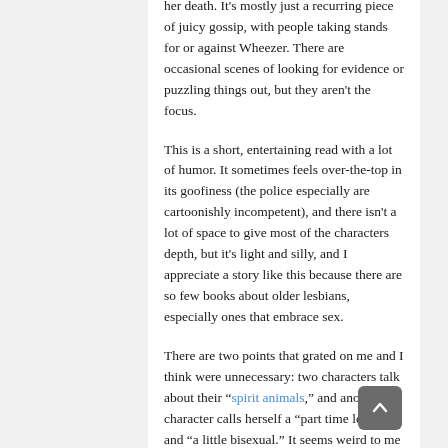her death. It's mostly just a recurring piece of juicy gossip, with people taking stands for or against Wheezer. There are occasional scenes of looking for evidence or puzzling things out, but they aren't the focus.
This is a short, entertaining read with a lot of humor. It sometimes feels over-the-top in its goofiness (the police especially are cartoonishly incompetent), and there isn't a lot of space to give most of the characters depth, but it's light and silly, and I appreciate a story like this because there are so few books about older lesbians, especially ones that embrace sex.
There are two points that grated on me and I think were unnecessary: two characters talk about their "spirit animals," and another character calls herself a "part time lesbian" and "a little bisexual." It seems weird to me that the community (especially since it apparently includes hundreds of women, though we